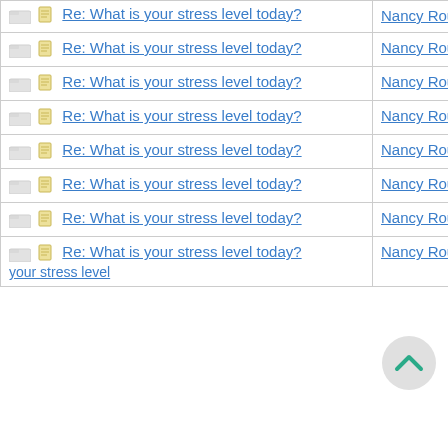| Subject | Author | Date |
| --- | --- | --- |
| Re: What is your stress level today? | Nancy Roussy | 06/08/16 03:41 PM |
| Re: What is your stress level today? | Nancy Roussy | 06/09/16 04:31 PM |
| Re: What is your stress level today? | Nancy Roussy | 06/09/16 05:00 PM |
| Re: What is your stress level today? | Nancy Roussy | 06/09/16 05:01 PM |
| Re: What is your stress level today? | Nancy Roussy | 06/09/16 05:22 PM |
| Re: What is your stress level today? | Nancy Roussy | 06/22/16 02:00 PM |
| Re: What is your stress level today? | Nancy Roussy | 06/26/16 06:41 PM |
| Re: What is your stress level today? | Nancy Roussy | 06/29/16 12:58 PM |